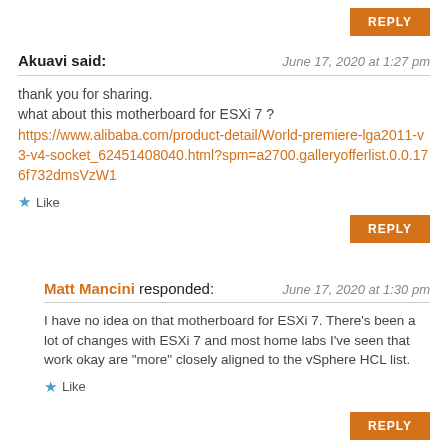REPLY
Akuavi said:
June 17, 2020 at 1:27 pm
thank you for sharing.
what about this motherboard for ESXi 7 ?
https://www.alibaba.com/product-detail/World-premiere-lga2011-v3-v4-socket_62451408040.html?spm=a2700.galleryofferlist.0.0.176f732dmsVzW1
Like
REPLY
Matt Mancini responded:
June 17, 2020 at 1:30 pm
I have no idea on that motherboard for ESXi 7. There's been a lot of changes with ESXi 7 and most home labs I've seen that work okay are "more" closely aligned to the vSphere HCL list.
Like
REPLY